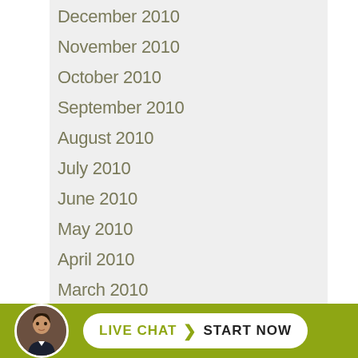December 2010
November 2010
October 2010
September 2010
August 2010
July 2010
June 2010
May 2010
April 2010
March 2010
February 2010
January 2010
December 2009
November 2009
[Figure (other): Live chat footer bar with avatar photo of a man and a button reading LIVE CHAT > START NOW on olive/yellow-green background]